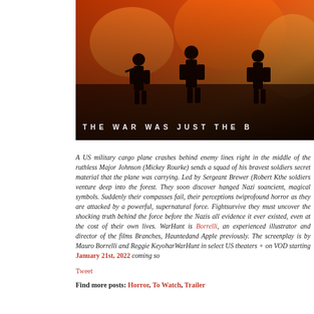[Figure (photo): Movie poster image showing soldiers silhouetted against fiery orange background with text 'THE WAR WAS JUST THE B' (beginning) at the bottom in spaced white letters]
A US military cargo plane crashes behind enemy lines right in the middle of the ruthless Major Johnson (Mickey Rourke) sends a squad of his bravest soldiers secret material that the plane was carrying. Led by Sergeant Brewer (Robert K the soldiers venture deep into the forest. They soon discover hanged Nazi so ancient, magical symbols. Suddenly their compasses fail, their perceptions twi profound horror as they are attacked by a powerful, supernatural force. Fight survive they must uncover the shocking truth behind the force before the Nazis all evidence it ever existed, even at the cost of their own lives. WarHunt is Borrelli, an experienced illustrator and director of the films Branches, Haunted and Apple previously. The screenplay is by Mauro Borrelli and Reggie Keyohan WarHunt in select US theaters + on VOD starting January 21st, 2022 coming so
Tweet
Find more posts: Horror, To Watch, Trailer